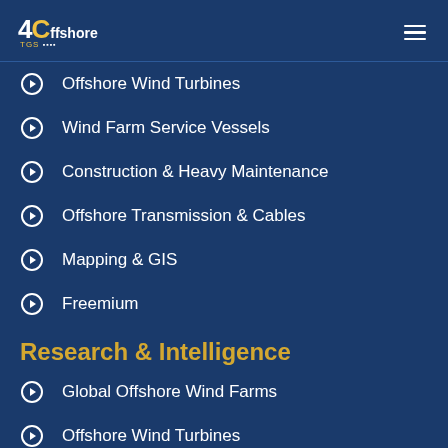4Offshore TGS
Offshore Wind Turbines
Wind Farm Service Vessels
Construction & Heavy Maintenance
Offshore Transmission & Cables
Mapping & GIS
Freemium
Research & Intelligence
Global Offshore Wind Farms
Offshore Wind Turbines
Global Offshore Wind Speed
Offshore Transmission & Cables